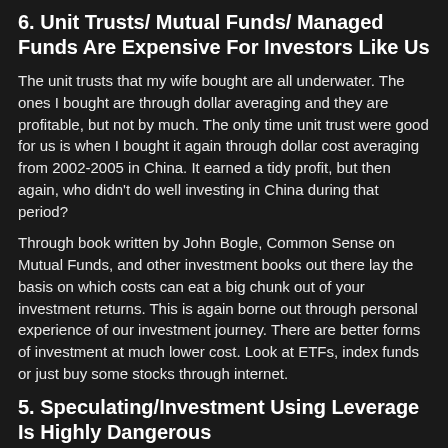6. Unit Trusts/ Mutual Funds/ Managed Funds Are Expensive For Investors Like Us
The unit trusts that my wife bought are all underwater. The ones I bought are through dollar averaging and they are profitable, but not by much. The only time unit trust were good for us is when I bought it again through dollar cost averaging from 2002-2005 in China. It earned a tidy profit, but then again, who didn't do well investing in China during that period?
Through book written by John Bogle, Common Sense on Mutual Funds, and other investment books out there lay the basis on which costs can eat a big chunk out of your investment returns. This is again borne out through personal experience of our investment journey. There are better forms of investment at much lower cost. Look at ETFs, index funds or just buy some stocks through internet.
5. Speculating/Investment Using Leverage Is Highly Dangerous
In my first job with a brokerage, I got to interact with